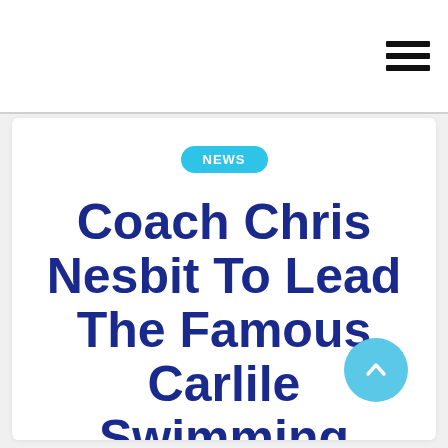Coach Chris Nesbit To Lead The Famous Carlile Swimming Team In Australia